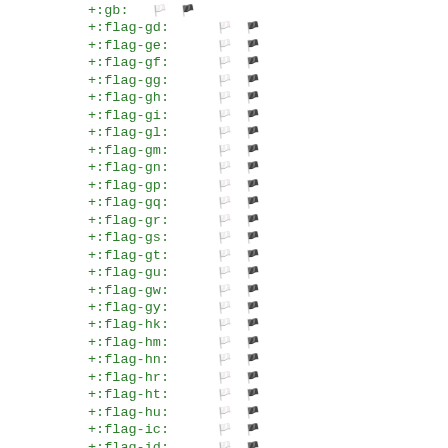+:gb:    🇬🇧
+:flag-gd:       🇬🇩
+:flag-ge:       🇬🇪
+:flag-gf:       🇬🇫
+:flag-gg:       🇬🇬
+:flag-gh:       🇬🇭
+:flag-gi:       🇬🇮
+:flag-gl:       🇬🇱
+:flag-gm:       🇬🇲
+:flag-gn:       🇬🇳
+:flag-gp:       🇬🇵
+:flag-gq:       🇬🇶
+:flag-gr:       🇬🇷
+:flag-gs:       🇬🇸
+:flag-gt:       🇬🇹
+:flag-gu:       🇬🇺
+:flag-gw:       🇬🇼
+:flag-gy:       🇬🇾
+:flag-hk:       🇭🇰
+:flag-hm:       🇭🇲
+:flag-hn:       🇭🇳
+:flag-hr:       🇭🇷
+:flag-ht:       🇭🇹
+:flag-hu:       🇭🇺
+:flag-ic:       🇮🇨
+:flag-id:       🇮🇩
+:flag-ie:       🇮🇪
+:flag-il:       🇮🇱
+:flag-im:       🇮🇲
+:flag-in:       🇮🇳